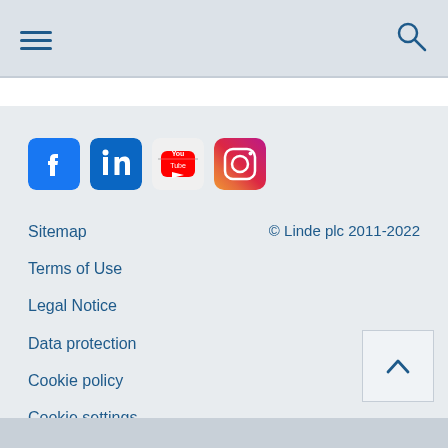Navigation bar with hamburger menu and search icon
[Figure (illustration): Social media icons row: Facebook, LinkedIn, YouTube, Instagram]
Sitemap
© Linde plc 2011-2022
Terms of Use
Legal Notice
Data protection
Cookie policy
Cookie settings
Back to top button